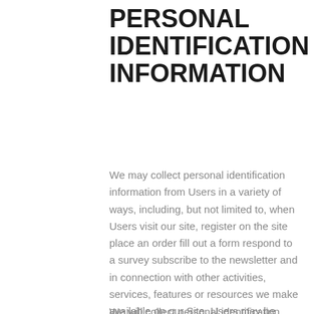PERSONAL IDENTIFICATION INFORMATION
We may collect personal identification information from Users in a variety of ways, including, but not limited to, when Users visit our site, register on the site place an order fill out a form respond to a survey subscribe to the newsletter and in connection with other activities, services, features or resources we make available on our Site. Users may be asked for, as appropriate, name, email address, mailing address, phone number.Users may, however, visit our Site anonymously.
We will collect personal identification